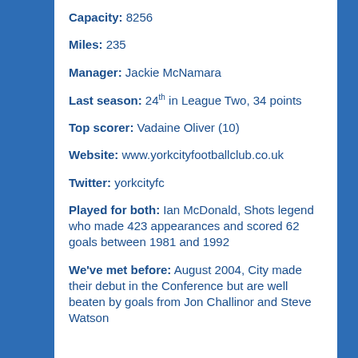Capacity: 8256
Miles: 235
Manager: Jackie McNamara
Last season: 24th in League Two, 34 points
Top scorer: Vadaine Oliver (10)
Website: www.yorkcityfootballclub.co.uk
Twitter: yorkcityfc
Played for both: Ian McDonald, Shots legend who made 423 appearances and scored 62 goals between 1981 and 1992
We've met before: August 2004, City made their debut in the Conference but are well beaten by goals from Jon Challinor and Steve Watson